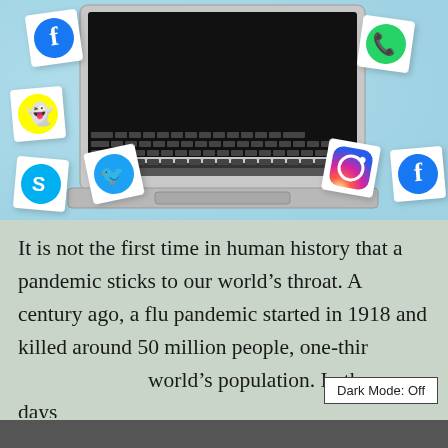[Figure (photo): Overhead view of a laptop surrounded by white paper cubes with social media logos (Facebook, Snapchat, Twitter, Skype, WhatsApp, Instagram, Facebook) on a light blue background.]
It is not the first time in human history that a pandemic sticks to our world's throat. A century ago, a flu pandemic started in 1918 and killed around 50 million people, one-third world's population. In those days